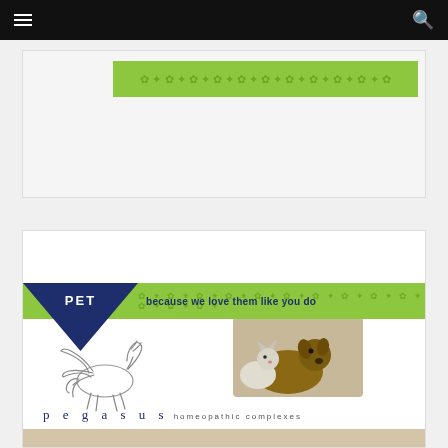[Figure (screenshot): Black navigation bar with hamburger menu icon on left and search icon on right]
[Figure (illustration): First advertisement card with green banner containing paw print pattern on white background]
[Figure (logo): Pegasus Homeopathic Complexes PET advertisement card with dark blue triangle arrow shape labeled PET, green banner reading 'because we love them like you do', Pegasus winged horse logo, photo of dog and cat, and text reading 'pegasus homeopathic complexes']